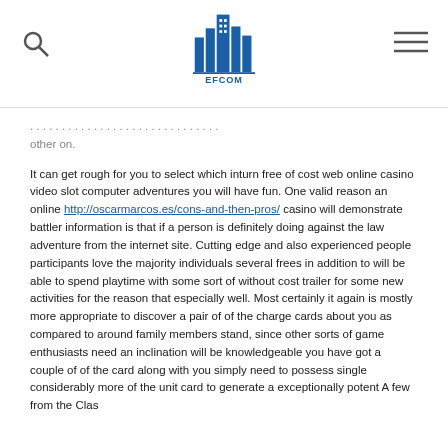EFCOM logo with search icon and hamburger menu
other on.

It can get rough for you to select which inturn free of cost web online casino video slot computer adventures you will have fun. One valid reason an online http://oscarmarcos.es/cons-and-then-pros/ casino will demonstrate battler information is that if a person is definitely doing against the law adventure from the internet site. Cutting edge and also experienced people participants love the majority individuals several frees in addition to will be able to spend playtime with some sort of without cost trailer for some new activities for the reason that especially well. Most certainly it again is mostly more appropriate to discover a pair of of the charge cards about you as compared to around family members stand, since other sorts of game enthusiasts need an inclination will be knowledgeable you have got a couple of of the card along with you simply need to possess single considerably more of the unit card to generate a exceptionally potent A few from the Class